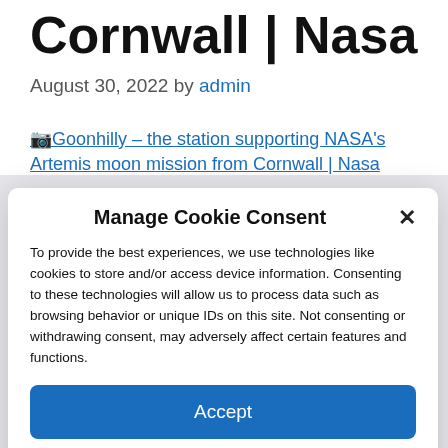Cornwall | Nasa
August 30, 2022 by admin
[Figure (other): Broken image link: Goonhilly – the station supporting NASA's Artemis moon mission from Cornwall | Nasa]
Manage Cookie Consent
To provide the best experiences, we use technologies like cookies to store and/or access device information. Consenting to these technologies will allow us to process data such as browsing behavior or unique IDs on this site. Not consenting or withdrawing consent, may adversely affect certain features and functions.
Accept
Cookie Policy